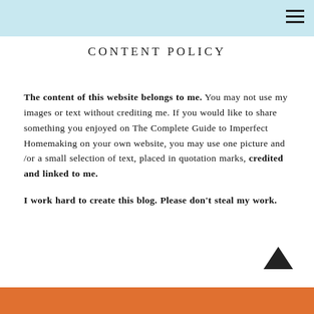CONTENT POLICY
The content of this website belongs to me. You may not use my images or text without crediting me. If you would like to share something you enjoyed on The Complete Guide to Imperfect Homemaking on your own website, you may use one picture and /or a small selection of text, placed in quotation marks, credited and linked to me.

I work hard to create this blog. Please don't steal my work.